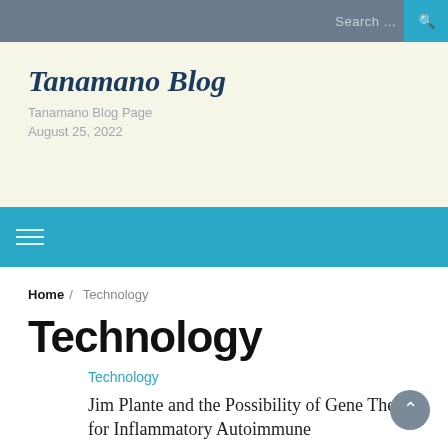Search ...
Tanamano Blog
Tanamano Blog Page
August 25, 2022
Technology
Home / Technology
Technology
Technology
Jim Plante and the Possibility of Gene Therapy for Inflammatory Autoimmune